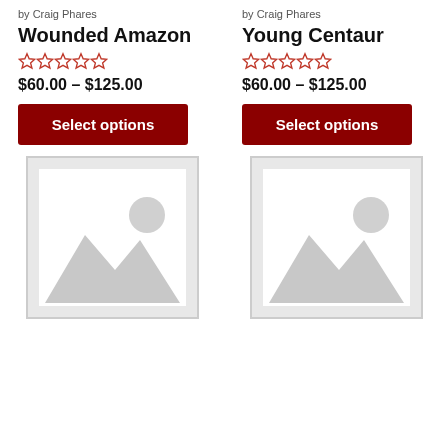by Craig Phares
Wounded Amazon
$60.00 – $125.00
by Craig Phares
Young Centaur
$60.00 – $125.00
[Figure (illustration): Placeholder image with mountain and sun icon (left column, bottom row)]
[Figure (illustration): Placeholder image with mountain and sun icon (right column, bottom row)]